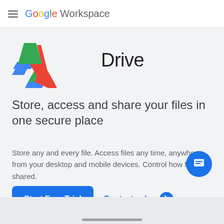≡ Google Workspace
[Figure (logo): Google Drive colorful triangle logo icon]
Drive
Store, access and share your files in one secure place
Store any and every file. Access files any time, anywhere from your desktop and mobile devices. Control how files are shared.
Start Free Trial | Contact sales →